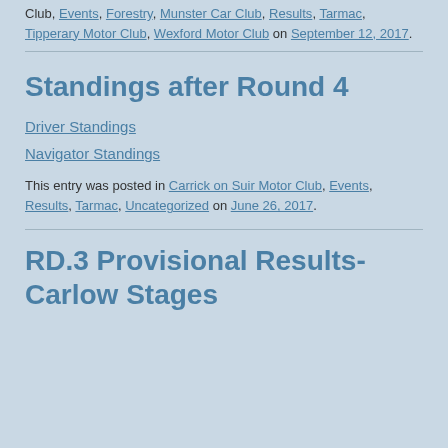Club, Events, Forestry, Munster Car Club, Results, Tarmac, Tipperary Motor Club, Wexford Motor Club on September 12, 2017.
Standings after Round 4
Driver Standings
Navigator Standings
This entry was posted in Carrick on Suir Motor Club, Events, Results, Tarmac, Uncategorized on June 26, 2017.
RD.3 Provisional Results-Carlow Stages